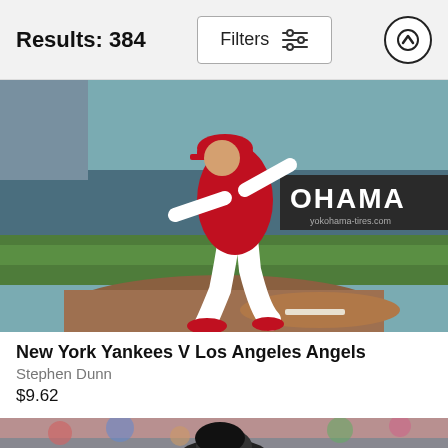Results: 384
[Figure (photo): Baseball pitcher in red Los Angeles Angels uniform mid-pitch on pitching mound, with green outfield grass and Yokohama advertising banner in background]
New York Yankees V Los Angeles Angels
Stephen Dunn
$9.62
[Figure (photo): Partial view of second baseball photo, cropped at bottom of page, showing players in stadium]